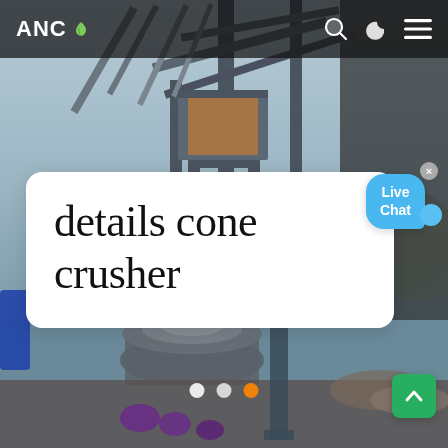[Figure (photo): Industrial mining/crushing equipment scene — large metal framework structure with conveyor, cone crusher machinery, steel beams, and gravel/rock pile in background against hazy sky]
ANC [leaf logo] | Search | Dark mode | Menu
details cone crusher
[Figure (infographic): Live Chat bubble in blue with 'Live Chat' text, with a close (x) button in upper right corner]
[Figure (infographic): Carousel navigation dots: two white dots and one orange/active dot]
[Figure (infographic): Green scroll-to-top button with upward arrow icon in lower right corner]